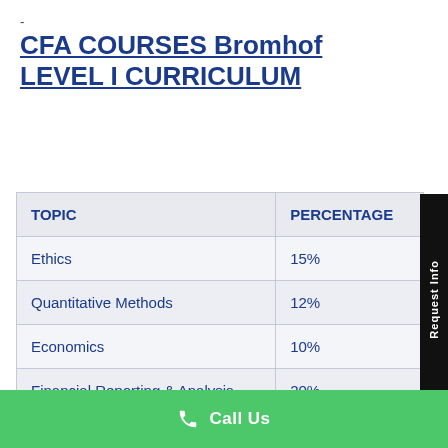-
CFA COURSES Bromhof LEVEL I CURRICULUM
| TOPIC | PERCENTAGE |
| --- | --- |
| Ethics | 15% |
| Quantitative Methods | 12% |
| Economics | 10% |
| Financial Reporting & Analysis | 20% |
Call Us